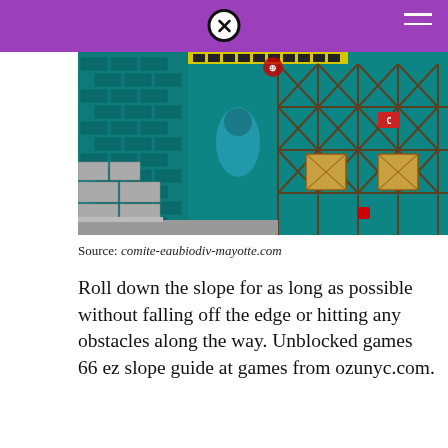[Figure (screenshot): Screenshot of a retro-style video game with teal brick walls, scaffolding, wooden crates, and a dark character sprite]
Source: comite-eaubiodiv-mayotte.com
Roll down the slope for as long as possible without falling off the edge or hitting any obstacles along the way. Unblocked games 66 ez slope guide at games from ozunyc.com.
[Figure (screenshot): Screenshot of a colorful side-scrolling game with pink sky, teal houses, green trees, and a character with a close button overlay]